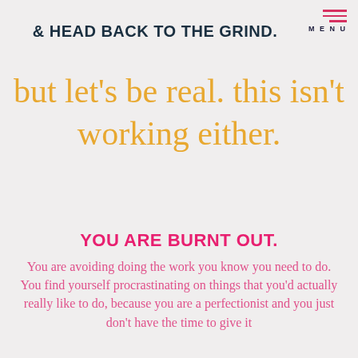MENU
& HEAD BACK TO THE GRIND.
but let's be real. this isn't working either.
YOU ARE BURNT OUT.
You are avoiding doing the work you know you need to do. You find yourself procrastinating on things that you'd actually really like to do, because you are a perfectionist and you just don't have the time to give it 100% to do a home run for yourself.